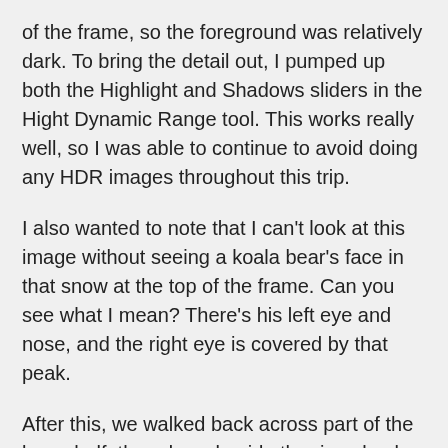of the frame, so the foreground was relatively dark. To bring the detail out, I pumped up both the Highlight and Shadows sliders in the Hight Dynamic Range tool. This works really well, so I was able to continue to avoid doing any HDR images throughout this trip.
I also wanted to note that I can't look at this image without seeing a koala bear's face in that snow at the top of the frame. Can you see what I mean? There's his left eye and nose, and the right eye is covered by that peak.
After this, we walked back across part of the lava shelf, then down beside the river, back to our bus, to drive to our hotel for the night.
Seljalandsfoss